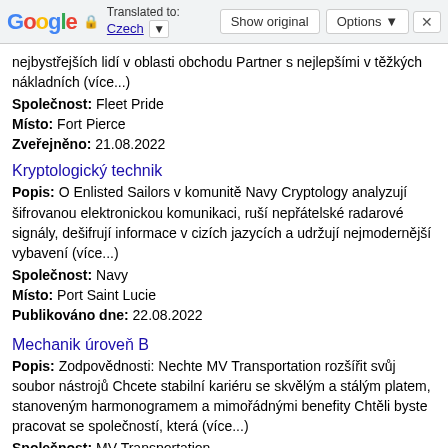Google | Translated to: Czech | Show original | Options | X
nejbystřejších lidí v oblasti obchodu Partner s nejlepšími v těžkých nákladních (více...)
Společnost: Fleet Pride
Místo: Fort Pierce
Zveřejněno: 21.08.2022
Kryptologický technik
Popis: O Enlisted Sailors v komunitě Navy Cryptology analyzují šifrovanou elektronickou komunikaci, ruší nepřátelské radarové signály, dešifrují informace v cizích jazycích a udržují nejmodernější vybavení (více...)
Společnost: Navy
Místo: Port Saint Lucie
Publikováno dne: 22.08.2022
Mechanik úroveň B
Popis: Zodpovědnosti: Nechte MV Transportation rozšířit svůj soubor nástrojů Chcete stabilní kariéru se skvělým a stálým platem, stanoveným harmonogramem a mimořádnými benefity Chtěli byste pracovat se společností, která (více...)
Společnost: MV Transportation
Místo: Fort Pierce
Zveřejněno: 2022-08-14
Mechanik úroveň B